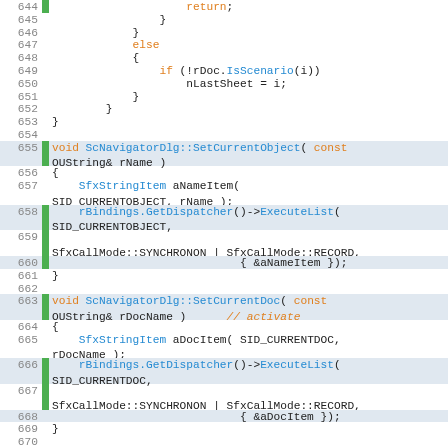[Figure (screenshot): Source code editor showing C++ code for ScNavigatorDlg class methods, lines 644-670, with syntax highlighting: keywords in orange, function/class names in blue, plain code in dark, line numbers in grey, green gutter markers on some lines.]